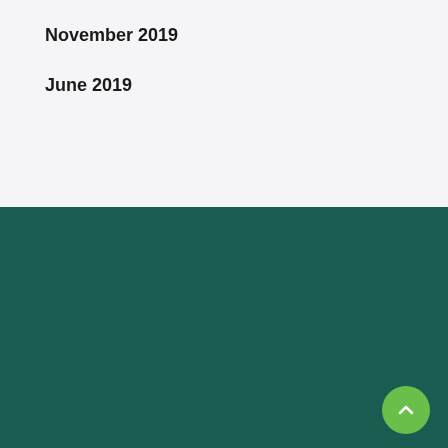November 2019
June 2019
[Figure (logo): Envirostream logo with triangular arrow icon in green and pink/red colors, and the word 'envirostream' in white text on dark teal background]
We're the only onshore, mixed-battery recycling facility in Australia with the integrated capacity to collect, sort, shred